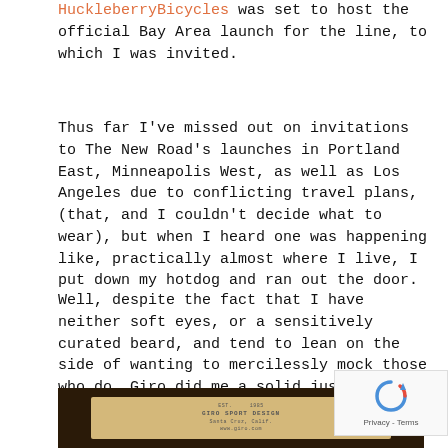HuckleberryBicycles was set to host the official Bay Area launch for the line, to which I was invited.
Thus far I've missed out on invitations to The New Road's launches in Portland East, Minneapolis West, as well as Los Angeles due to conflicting travel plans, (that, and I couldn't decide what to wear), but when I heard one was happening like, practically almost where I live, I put down my hotdog and ran out the door.
Well, despite the fact that I have neither soft eyes, or a sensitively curated beard, and tend to lean on the side of wanting to mercilessly mock those who do, Giro did me a solid just the same and left a fancy wooden box behind the counter for me full of the new wares;
[Figure (photo): A wooden box with Giro Sport Design branding text on a dark background]